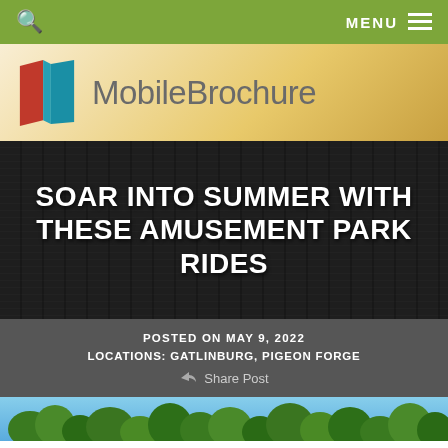🔍  MENU ☰
[Figure (logo): MobileBrochure logo with red and teal book/map icon and gray text 'MobileBrochure' on warm gradient background]
SOAR INTO SUMMER WITH THESE AMUSEMENT PARK RIDES
POSTED ON MAY 9, 2022
LOCATIONS: GATLINBURG, PIGEON FORGE
Share Post
[Figure (photo): Bottom strip showing green trees/nature photo, partially cropped]